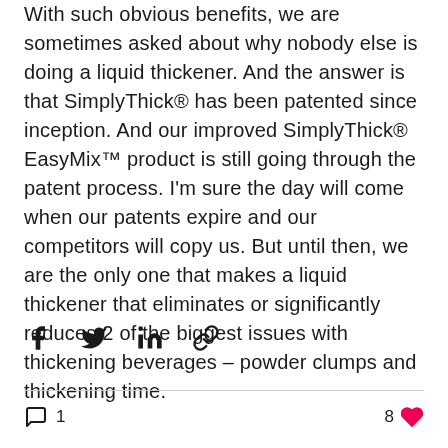With such obvious benefits, we are sometimes asked about why nobody else is doing a liquid thickener. And the answer is that SimplyThick® has been patented since inception. And our improved SimplyThick® EasyMix™ product is still going through the patent process. I'm sure the day will come when our patents expire and our competitors will copy us. But until then, we are the only one that makes a liquid thickener that eliminates or significantly reduces 2 of the biggest issues with thickening beverages – powder clumps and thickening time.
[Figure (other): Social share buttons: Facebook, Twitter, LinkedIn, and link/copy icons]
[Figure (other): Comment count (1) and like count (8 with heart icon) interaction bar]